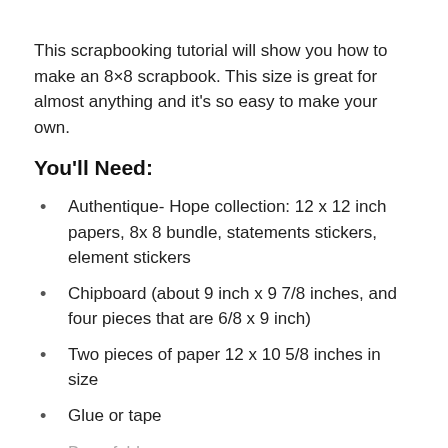This scrapbooking tutorial will show you how to make an 8×8 scrapbook. This size is great for almost anything and it's so easy to make your own.
You'll Need:
Authentique- Hope collection: 12 x 12 inch papers, 8x 8 bundle, statements stickers, element stickers
Chipboard (about 9 inch x 9 7/8 inches, and four pieces that are 6/8 x 9 inch)
Two pieces of paper 12 x 10 5/8 inches in size
Glue or tape
Bone folder
Scissors
Tissue or washi tape